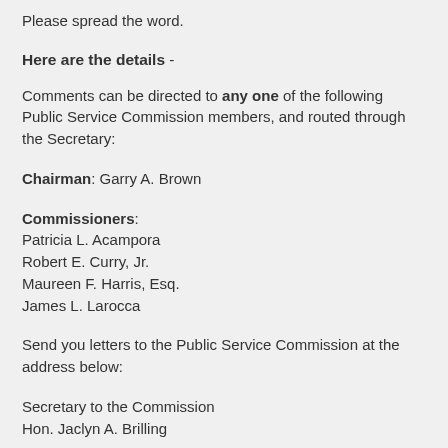Please spread the word.
Here are the details -
Comments can be directed to any one of the following Public Service Commission members, and routed through the Secretary:
Chairman: Garry A. Brown
Commissioners:
Patricia L. Acampora
Robert E. Curry, Jr.
Maureen F. Harris, Esq.
James L. Larocca
Send you letters to the Public Service Commission at the address below:
Secretary to the Commission
Hon. Jaclyn A. Brilling